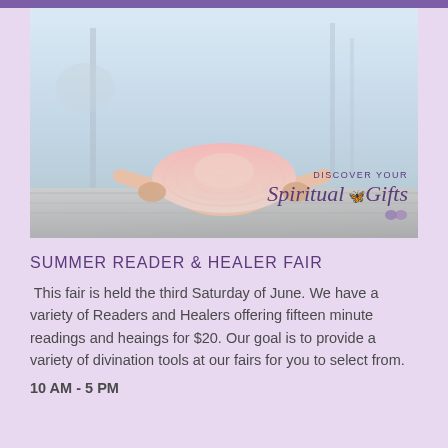[Figure (photo): Person in yoga child's pose wearing a large pink sun hat and colorful swimsuit, lying face down on what appears to be a dock or platform near water. The 'Discover Your Spiritual Gifts' logo with butterfly is overlaid in the bottom right corner.]
SUMMER READER & HEALER FAIR
This fair is held the third Saturday of June. We have a variety of Readers and Healers offering fifteen minute readings and heaings for $20. Our goal is to provide a variety of divination tools at our fairs for you to select from.
10 AM - 5 PM